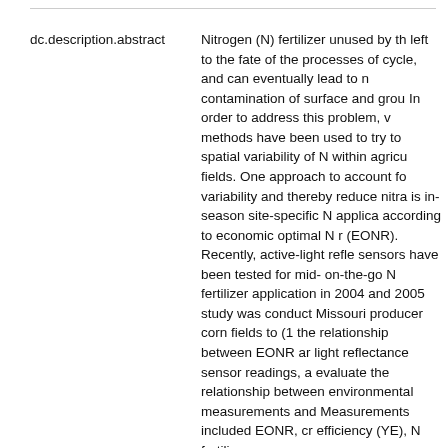| dc.description.abstract | Nitrogen (N) fertilizer unused by the left to the fate of the processes of cycle, and can eventually lead to n contamination of surface and grou In order to address this problem, v methods have been used to try to spatial variability of N within agricu fields. One approach to account fo variability and thereby reduce nitra is in-season site-specific N applica according to economic optimal N r (EONR). Recently, active-light refle sensors have been tested for mid- on-the-go N fertilizer application in 2004 and 2005 study was conduct Missouri producer corn fields to (1 the relationship between EONR ar light reflectance sensor readings, a evaluate the relationship between environmental measurements and Measurements included EONR, cr efficiency (YE), N fertilizer recover |